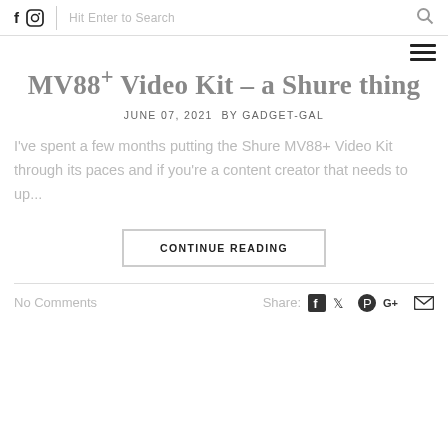f  [instagram icon]  Hit Enter to Search  [search icon]
MV88+ Video Kit – a Shure thing
JUNE 07, 2021  BY GADGET-GAL
I've spent a few months putting the Shure MV88+ Video Kit through its paces and if you're a content creator that needs to up...
CONTINUE READING
No Comments
Share: